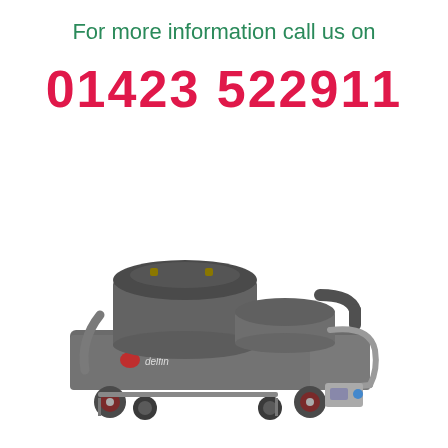For more information call us on
01423 522911
[Figure (photo): Industrial vacuum cleaner on a wheeled cart, grey metal body with two cylindrical collection containers on top, branded 'delfin', with hose connections and heavy-duty casters]